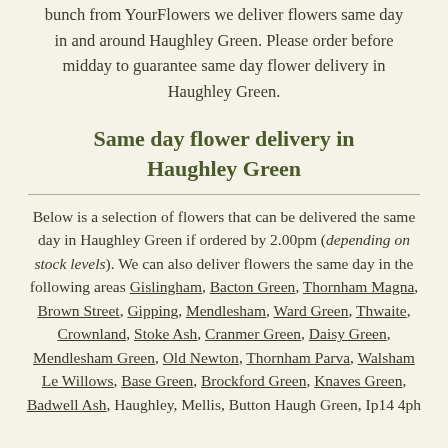bunch from YourFlowers we deliver flowers same day in and around Haughley Green. Please order before midday to guarantee same day flower delivery in Haughley Green.
Same day flower delivery in Haughley Green
Below is a selection of flowers that can be delivered the same day in Haughley Green if ordered by 2.00pm (depending on stock levels). We can also deliver flowers the same day in the following areas Gislingham, Bacton Green, Thornham Magna, Brown Street, Gipping, Mendlesham, Ward Green, Thwaite, Crownland, Stoke Ash, Cranmer Green, Daisy Green, Mendlesham Green, Old Newton, Thornham Parva, Walsham Le Willows, Base Green, Brockford Green, Knaves Green, Badwell Ash, Haughley, Mellis, Button Haugh Green, Ip14 4ph